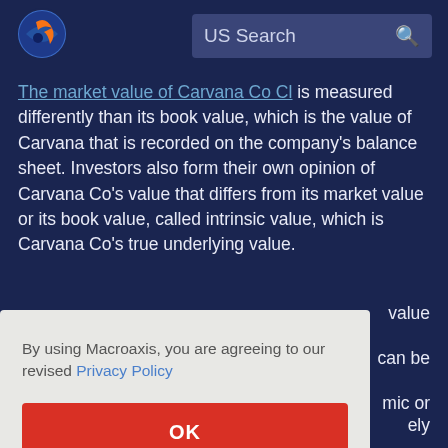[Figure (logo): Macroaxis globe logo — orange and blue circular icon]
US Search
The market value of Carvana Co Cl is measured differently than its book value, which is the value of Carvana that is recorded on the company's balance sheet. Investors also form their own opinion of Carvana Co's value that differs from its market value or its book value, called intrinsic value, which is Carvana Co's true underlying value.
By using Macroaxis, you are agreeing to our revised Privacy Policy
OK